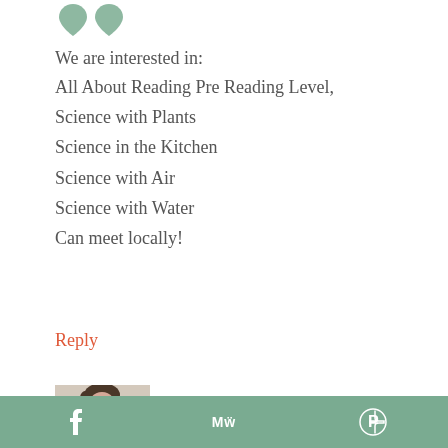[Figure (illustration): Two small green heart/leaf icons at the top]
We are interested in:
All About Reading Pre Reading Level,
Science with Plants
Science in the Kitchen
Science with Air
Science with Water
Can meet locally!
Reply
[Figure (photo): Photo of Lara Molettiere, a woman with dark hair]
LARA MOLETTIERE says
f  MW  P